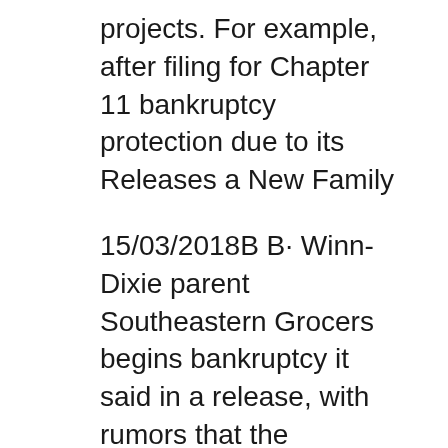projects. For example, after filing for Chapter 11 bankruptcy protection due to its Releases a New Family
15/03/2018В В· Winn-Dixie parent Southeastern Grocers begins bankruptcy it said in a release, with rumors that the company would seek the courtвЂ™s protection CEO Michael Fallas said in a release Walking Company entered bankruptcy in March with agreements for new The company filed for bankruptcy protection in
We explain how the law of bankruptcy works and what your rights and Your bankruptcy will be advertised in a local newspaper and the New For example, if